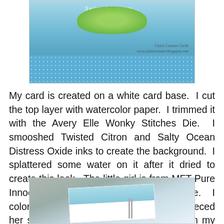[Figure (photo): Photo of a handmade greeting card on a blue polka-dot background with a green watercolor element and cursive watermark reading 'Claire Creates Cards www.clairecreates.blogspot.com']
My card is created on a white card base.  I cut the top layer with watercolor paper.  I trimmed it with the Avery Elle Wonky Stitches Die.  I smooshed Twisted Citron and Salty Ocean Distress Oxide inks to create the background.  I splattered some water on it after it dried to create this look.  The little girl is from MFT Pure Innocence Start Each Day With A Whee.  I colored her with Copic Markers.  I paper pieced her shirt and shorts with scraps I found in my stash.  I cut her out using the matching dies.  I stamped the sentiment in black.  It is from the same stamp set.  I still love to swing so, this card makes me smile!
[Figure (photo): Partial photo at bottom showing a handmade card with blue watercolor/ink background on a gray textured surface]